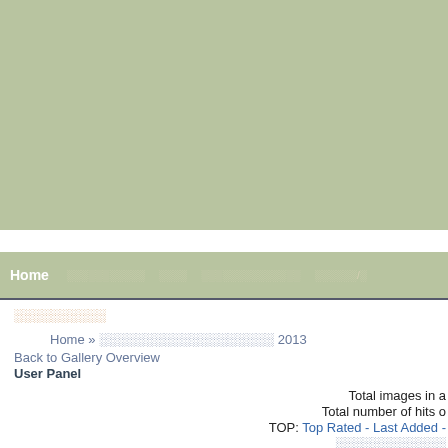[Figure (other): Green/sage colored website header banner area]
Home  ░░░░░░░░░░░  ░░░░  ░░░░░░░░░░░░░░  ░░░░░░░/░
░░░░░░░░░░
Home » ░░░░░░░░░░░░░░░░░░░ 2013
Back to Gallery Overview
User Panel
Total images in a
Total number of hits o
TOP: Top Rated - Last Added -
░░░░░░░░░░░░
░░░░░░░░░░░░░░░░░░░░ ░░░░░░░░ 1 "░░░░░░░░░░░░░░░░░░░░ 2013" ░░░░